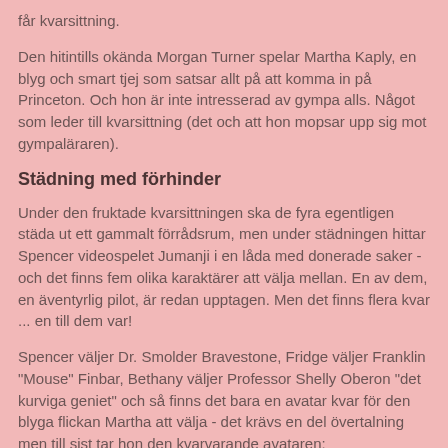får kvarsittning.
Den hitintills okända Morgan Turner spelar Martha Kaply, en blyg och smart tjej som satsar allt på att komma in på Princeton. Och hon är inte intresserad av gympa alls. Något som leder till kvarsittning (det och att hon mopsar upp sig mot gympaläraren).
Städning med förhinder
Under den fruktade kvarsittningen ska de fyra egentligen städa ut ett gammalt förrådsrum, men under städningen hittar Spencer videospelet Jumanji i en låda med donerade saker - och det finns fem olika karaktärer att välja mellan. En av dem, en äventyrlig pilot, är redan upptagen. Men det finns flera kvar ... en till dem var!
Spencer väljer Dr. Smolder Bravestone, Fridge väljer Franklin "Mouse" Finbar, Bethany väljer Professor Shelly Oberon "det kurviga geniet" och så finns det bara en avatar kvar för den blyga flickan Martha att välja - det krävs en del övertalning men till sist tar hon den kvarvarande avataren: